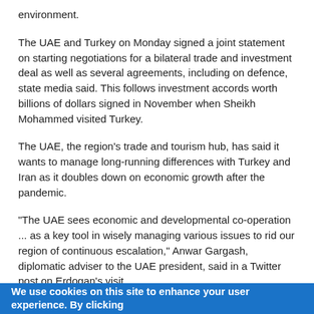environment.
The UAE and Turkey on Monday signed a joint statement on starting negotiations for a bilateral trade and investment deal as well as several agreements, including on defence, state media said. This follows investment accords worth billions of dollars signed in November when Sheikh Mohammed visited Turkey.
The UAE, the region's trade and tourism hub, has said it wants to manage long-running differences with Turkey and Iran as it doubles down on economic growth after the pandemic.
"The UAE sees economic and developmental co-operation ... as a key tool in wisely managing various issues to rid our region of continuous escalation," Anwar Gargash, diplomatic adviser to the UAE president, said in a Twitter post on Erdogan's visit.
The rift stems from the Arab uprisings, when Turkey backed the Muslim Brotherhood and their Islamist allies challenging entrenched autocrats from Tunisia to Syria – alarming the UAE's dynastic rulers, who see the Brotherhood as a political and security threat.
Separately, Turkey is seeking smoother relations with Israel and is
We use cookies on this site to enhance your user experience. By clicking